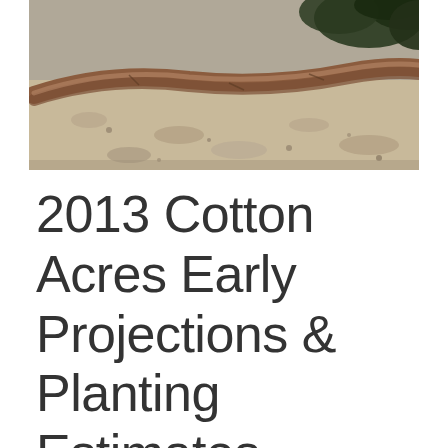[Figure (photo): Close-up photograph of a dried plant stem or branch resting on sandy/grainy soil surface, with dark foliage visible in the upper right corner]
2013 Cotton Acres Early Projections & Planting Estimates